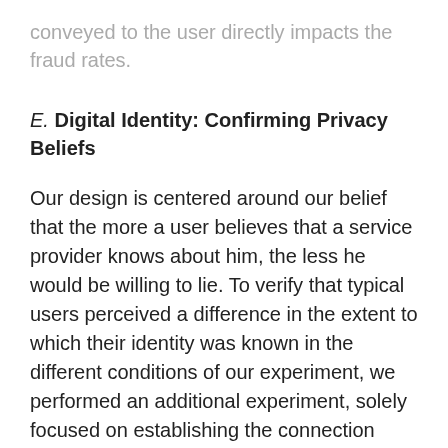conveyed to the user directly impacts the fraud rates.
E. Digital Identity: Confirming Privacy Beliefs
Our design is centered around our belief that the more a user believes that a service provider knows about him, the less he would be willing to lie. To verify that typical users perceived a difference in the extent to which their identity was known in the different conditions of our experiment, we performed an additional experiment, solely focused on establishing the connection between the identity indicators and the believed ability for a service provider to match a session to a user’s real-life identity.
We recruited 300 MTurk users, each one paid $0.12